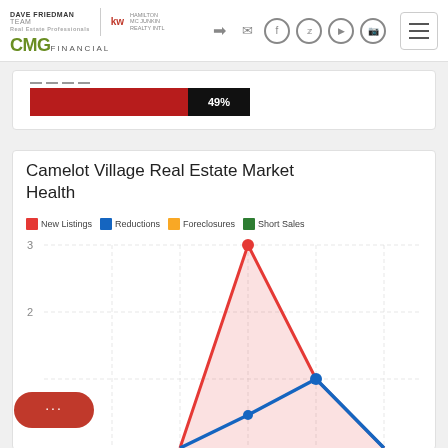Dave Friedman Team | KW Hamilton McJunkin | CMG Financial
[Figure (other): Progress bar showing 49%]
Camelot Village Real Estate Market Health
New Listings | Reductions | Foreclosures | Short Sales
[Figure (line-chart): Line chart with area fill showing New Listings (red), Reductions (blue), Foreclosures (orange), Short Sales (green). Y-axis visible: 2, 3. Red line peaks at 3, blue line at bottom around 1. Chart partially cut off at bottom.]